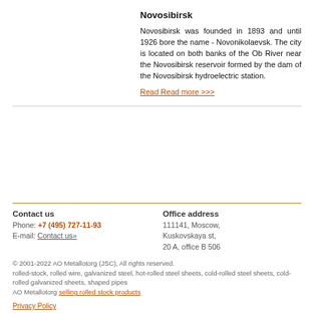Novosibirsk
Novosibirsk was founded in 1893 and until 1926 bore the name - Novonikolaevsk. The city is located on both banks of the Ob River near the Novosibirsk reservoir formed by the dam of the Novosibirsk hydroelectric station.
Read Read more >>>
Contact us
Phone: +7 (495) 727-11-93
E-mail: Contact us»
Office address
111141, Moscow,
Kuskovskaya st,
20 A, office B 506
© 2001-2022 AO Metallotorg (JSC), All rights reserved.
rolled-stock, rolled wire, galvanized steel, hot-rolled steel sheets, cold-rolled steel sheets, cold-rolled galvanized sheets, shaped pipes
AO Metallotorg selling rolled stock products
Privacy Policy